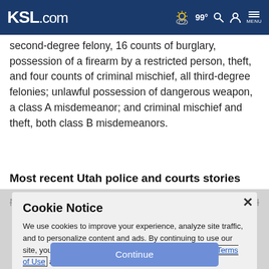KSL.com | 99° | Search | Account | MENU
second-degree felony, 16 counts of burglary, possession of a firearm by a restricted person, theft, and four counts of criminal mischief, all third-degree felonies; unlawful possession of dangerous weapon, a class A misdemeanor; and criminal mischief and theft, both class B misdemeanors.
Most recent Utah police and courts stories
New nomination would give Utah Supreme Court a female
Cookie Notice
We use cookies to improve your experience, analyze site traffic, and to personalize content and ads. By continuing to use our site, you consent to our use of cookies. Please visit our Terms of Use and Privacy Policy for more information.
Continue